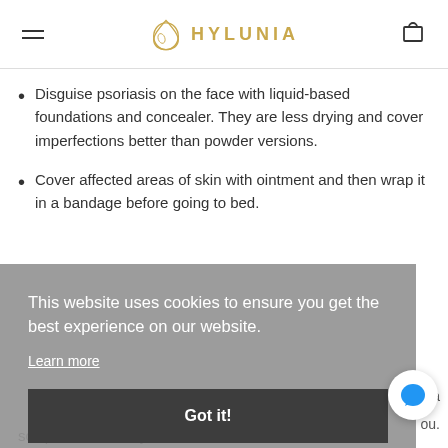HYLUNIA
Disguise psoriasis on the face with liquid-based foundations and concealer. They are less drying and cover imperfections better than powder versions.
Cover affected areas of skin with ointment and then wrap it in a bandage before going to bed.
This website uses cookies to ensure you get the best experience on our website. Learn more Got it!
scalp and relive dryness